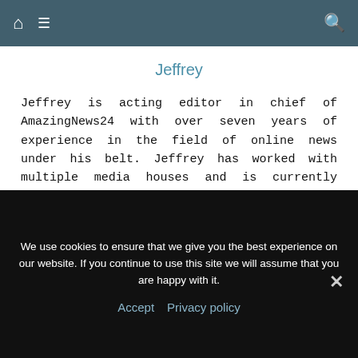Home | Menu | Search
Jeffrey
Jeffrey is acting editor in chief of AmazingNews24 with over seven years of experience in the field of online news under his belt. Jeffrey has worked with multiple media houses and is currently leading a team of journalists, sub-editors and writers through his entrepreneurial endeavours.
[Figure (other): Yellow advertisement banner area]
We use cookies to ensure that we give you the best experience on our website. If you continue to use this site we will assume that you are happy with it.
Accept   Privacy policy